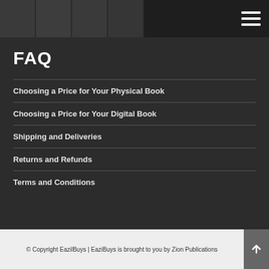[Figure (screenshot): Dark navigation bar with book thumbnails and hamburger menu icon on the right]
FAQ
Choosing a Price for Your Physical Book
Choosing a Price for Your Digital Book
Shipping and Deliveries
Returns and Refunds
Terms and Conditions
© Copyright EazilBuys | EaziBuys is brought to you by Zion Publications